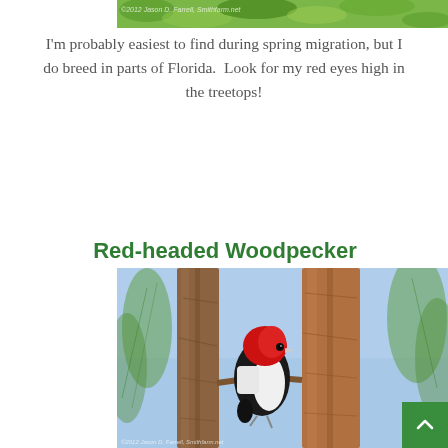[Figure (photo): Partial top strip of a bird photo with leaves/greenery and a watermark text in the upper left corner]
I'm probably easiest to find during spring migration, but I do breed in parts of Florida.  Look for my red eyes high in the treetops!
Red-headed Woodpecker
[Figure (photo): A Red-headed Woodpecker perched on a pine tree trunk. The bird has a vivid red head, black back, and white body/wing patches. The background shows blurred blue sky and green pine needles. A watermark is present in the lower left corner.]